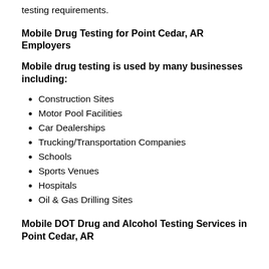testing requirements.
Mobile Drug Testing for Point Cedar, AR Employers
Mobile drug testing is used by many businesses including:
Construction Sites
Motor Pool Facilities
Car Dealerships
Trucking/Transportation Companies
Schools
Sports Venues
Hospitals
Oil & Gas Drilling Sites
Mobile DOT Drug and Alcohol Testing Services in Point Cedar, AR